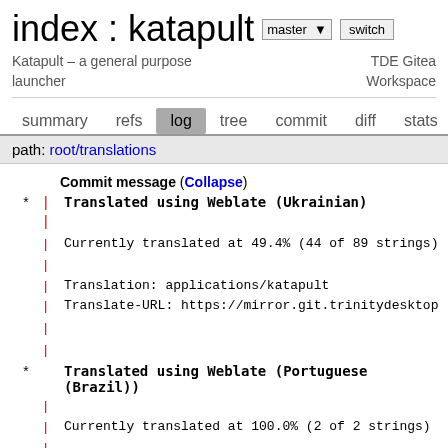index : katapult
Katapult – a general purpose launcher
TDE Gitea Workspace
summary  refs  log  tree  commit  diff  stats  log
path: root/translations
Commit message (Collapse)
* Translated using Weblate (Ukrainian)
Currently translated at 49.4% (44 of 89 strings)
Translation: applications/katapult
Translate-URL: https://mirror.git.trinitydesktop
* Translated using Weblate (Portuguese (Brazil))
Currently translated at 100.0% (2 of 2 strings)
Translation: applications/katapult - katapult.de
Translate-URL: https://mirror.git.trinitydesktop
* Translated using Weblate (Italian)